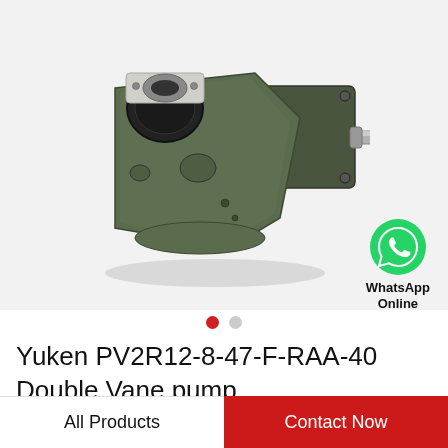[Figure (photo): Yuken PV2R12-8-47-F-RAA-40 Double Vane pump — a dark olive/military green hydraulic double vane pump with a square mounting flange on the right side and a protruding cylindrical shaft on the right, with an inlet port visible on the front-left. Background is light gray.]
[Figure (logo): WhatsApp green circle icon with white phone handset, labeled 'WhatsApp Online' in black text below]
Yuken PV2R12-8-47-F-RAA-40 Double Vane pump
All Products
Contact Now